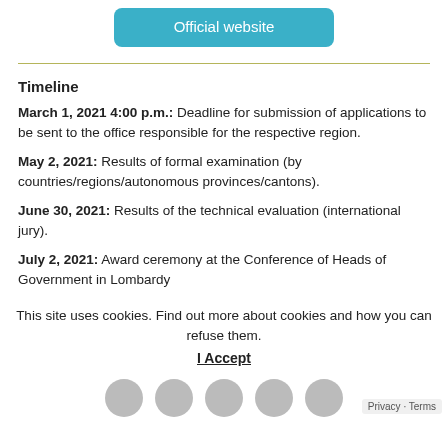[Figure (other): Teal/blue rounded button labeled 'Official website']
Timeline
March 1, 2021 4:00 p.m.: Deadline for submission of applications to be sent to the office responsible for the respective region.
May 2, 2021: Results of formal examination (by countries/regions/autonomous provinces/cantons).
June 30, 2021: Results of the technical evaluation (international jury).
July 2, 2021: Award ceremony at the Conference of Heads of Government in Lombardy
This site uses cookies. Find out more about cookies and how you can refuse them. I Accept
Privacy · Terms